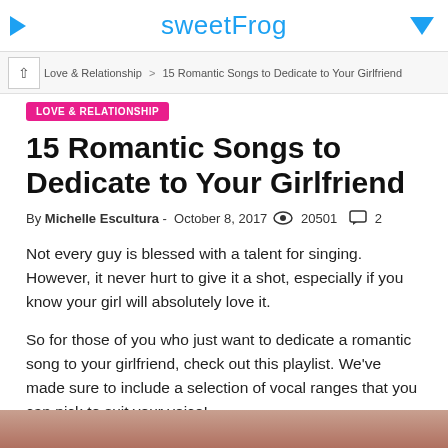sweetFrog
Love & Relationship > 15 Romantic Songs to Dedicate to Your Girlfriend
LOVE & RELATIONSHIP
15 Romantic Songs to Dedicate to Your Girlfriend
By Michelle Escultura - October 8, 2017  20501  2
Not every guy is blessed with a talent for singing. However, it never hurt to give it a shot, especially if you know your girl will absolutely love it.
So for those of you who just want to dedicate a romantic song to your girlfriend, check out this playlist. We’ve made sure to include a selection of vocal ranges that you can pick to suit your voice!
[Figure (photo): Bottom cropped portion of a photo showing a person, partially visible at the bottom of the page]